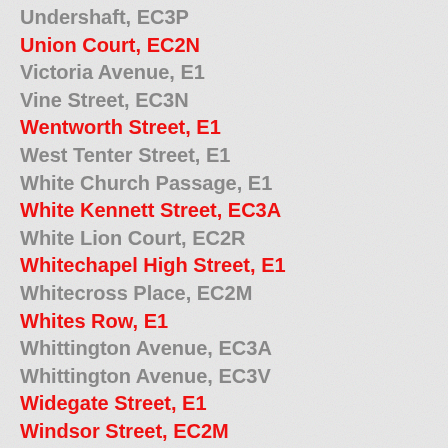Undershaft, EC3P
Union Court, EC2N
Victoria Avenue, E1
Vine Street, EC3N
Wentworth Street, E1
West Tenter Street, E1
White Church Passage, E1
White Kennett Street, EC3A
White Lion Court, EC2R
Whitechapel High Street, E1
Whitecross Place, EC2M
Whites Row, E1
Whittington Avenue, EC3A
Whittington Avenue, EC3V
Widegate Street, E1
Windsor Street, EC2M
Wormwood Street, EC2N
Wrestlers Court, EC3A